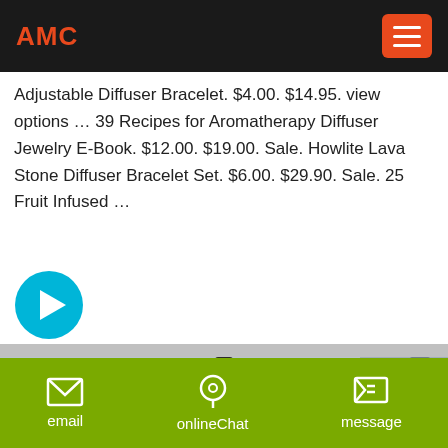AMC
Adjustable Diffuser Bracelet. $4.00. $14.95. view options … 39 Recipes for Aromatherapy Diffuser Jewelry E-Book. $12.00. $19.00. Sale. Howlite Lava Stone Diffuser Bracelet Set. $6.00. $29.90. Sale. 25 Fruit Infused …
[Figure (other): Circular arrow/next button icon (cyan circle with white right arrow)]
[Figure (photo): Industrial machine (cone crusher) with dark grey body, red ring band, photographed in a facility]
email   onlineChat   message